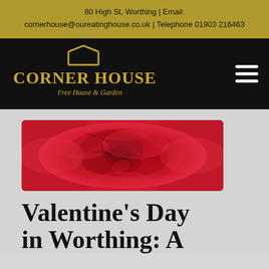80 High St, Worthing | Email: cornerhouse@oureatinghouse.co.uk | Telephone 01903 216463
[Figure (logo): Corner House Free House & Garden logo — gold text with house roofline graphic on black background]
[Figure (photo): Close-up macro photograph of a deep red rose]
Valentine's Day in Worthing: A